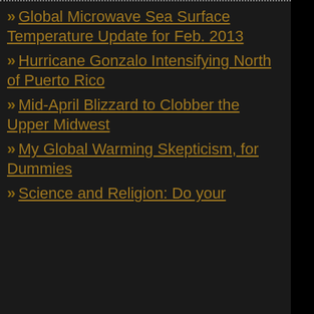» Global Microwave Sea Surface Temperature Update for Feb. 2013
» Hurricane Gonzalo Intensifying North of Puerto Rico
» Mid-April Blizzard to Clobber the Upper Midwest
» My Global Warming Skepticism, for Dummies
» Science and Religion: Do your